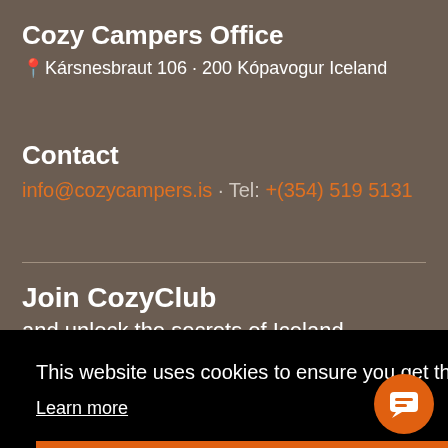Cozy Campers Office
📍 Kársnesbraut 106 · 200 Kópavogur Iceland
Contact
info@cozycampers.is · Tel: +(354) 519 5131
Join CozyClub
and unlock the secrets of Iceland
This website uses cookies to ensure you get the best experience on our website.
Learn more
Got it!